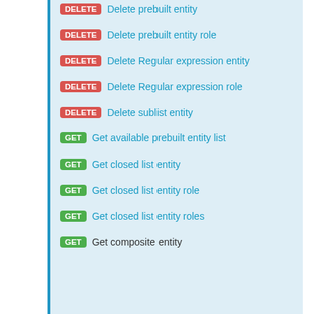DELETE  Delete prebuilt entity
DELETE  Delete prebuilt entity role
DELETE  Delete Regular expression entity
DELETE  Delete Regular expression role
DELETE  Delete sublist entity
GET  Get available prebuilt entity list
GET  Get closed list entity
GET  Get closed list entity role
GET  Get closed list entity roles
GET  Get composite entity